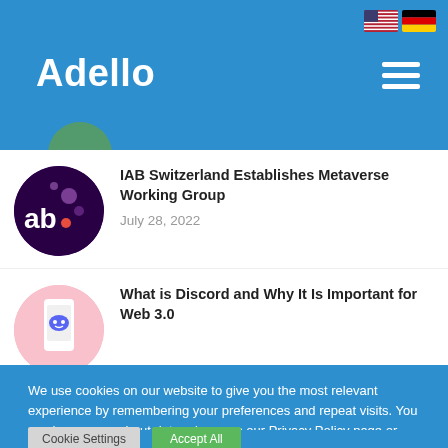Adello
IAB Switzerland Establishes Metaverse Working Group
July 28, 2022
What is Discord and Why It Is Important for Web 3.0
We use cookies on our website to give you the most relevant experience by remembering your preferences and repeat visits. You can learn more about data privacy on our Privacy Policy page or opt-out.
Cookie Settings
Accept All